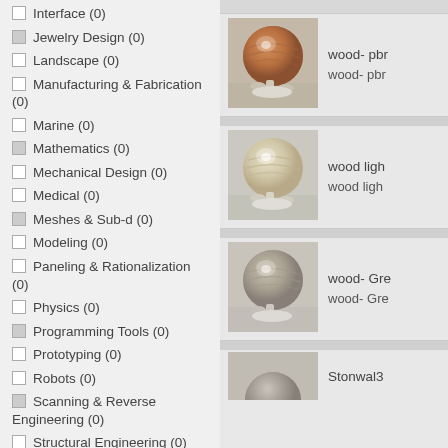Interface (0)
Jewelry Design (0)
Landscape (0)
Manufacturing & Fabrication (0)
Marine (0)
Mathematics (0)
Mechanical Design (0)
Medical (0)
Meshes & Sub-d (0)
Modeling (0)
Paneling & Rationalization (0)
Physics (0)
Programming Tools (0)
Prototyping (0)
Robots (0)
Scanning & Reverse Engineering (0)
Structural Engineering (0)
Urban Planning & City
[Figure (photo): 3D render of a brown wood PBR material sphere on a stand]
wood- pbr
wood- pbr
[Figure (photo): 3D render of a light wood material sphere on a stand]
wood ligh
wood ligh
[Figure (photo): 3D render of a grey-brown wood material sphere on a stand]
wood- Gre
wood- Gre
[Figure (photo): Partial view of another material sphere, labeled Stonwal3]